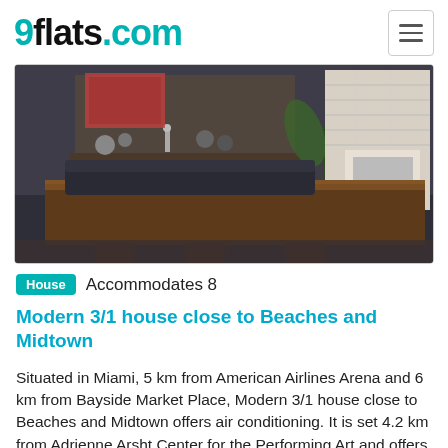9flats.com
[Figure (photo): Interior photo of a living/dining room with a dark wood table in the foreground, black leather sofa, white brick fireplace, and decorative shelf in the background.]
House  Accommodates 8
Modern 3/1 house close to Beaches and Midtown
Situated in Miami, 5 km from American Airlines Arena and 6 km from Bayside Market Place, Modern 3/1 house close to Beaches and Midtown offers air conditioning. It is set 4.2 km from Adrienne Arsht Center for the Performing Art and offers free WiFi and